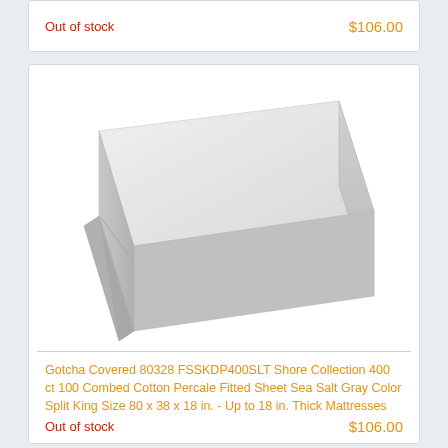Out of stock
$106.00
[Figure (photo): A white fitted sheet shown on a mattress, photographed at an angle showing the top surface and one side with folded corner detail. The sheet is plain white/light gray on a white background.]
Gotcha Covered 80328 FSSKDP400SLT Shore Collection 400 ct 100 Combed Cotton Percale Fitted Sheet Sea Salt Gray Color Split King Size 80 x 38 x 18 in. - Up to 18 in. Thick Mattresses
Out of stock
$106.00